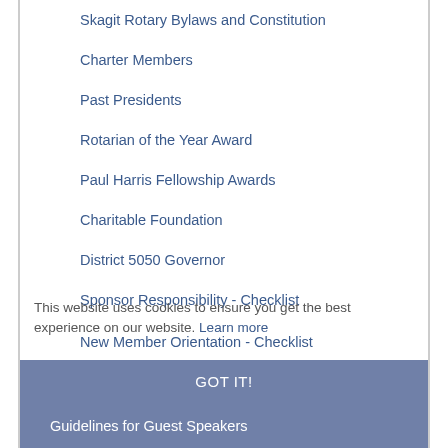Skagit Rotary Bylaws and Constitution
Charter Members
Past Presidents
Rotarian of the Year Award
Paul Harris Fellowship Awards
Charitable Foundation
District 5050 Governor
Sponsor Responsibility - Checklist
New Member Orientation - Checklist
Expectations of Club Membership
Guidelines for Guest Speakers
Contact Information
This website uses cookies to ensure you get the best experience on our website. Learn more
GOT IT!